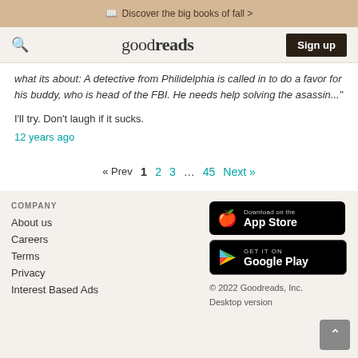Discover the big books of fall >
goodreads  Sign up
what its about: A detective from Philidelphia is called in to do a favor for his buddy, who is head of the FBI. He needs help solving the asassin..."
I'll try. Don't laugh if it sucks.
12 years ago
« Prev  1  2  3  …  45  Next »
COMPANY
About us
Careers
Terms
Privacy
Interest Based Ads
[Figure (screenshot): Download on the App Store badge]
[Figure (screenshot): Get it on Google Play badge]
© 2022 Goodreads, Inc.
Desktop version